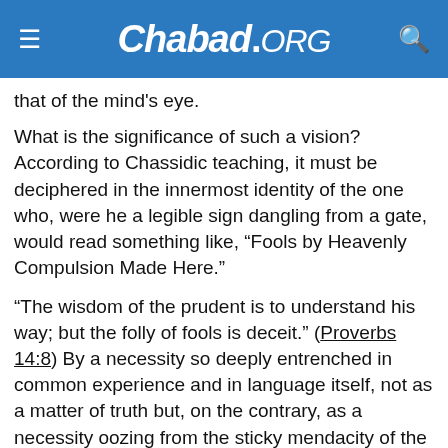Chabad.ORG
that of the mind's eye.
What is the significance of such a vision? According to Chassidic teaching, it must be deciphered in the innermost identity of the one who, were he a legible sign dangling from a gate, would read something like, “Fools by Heavenly Compulsion Made Here.”
“The wisdom of the prudent is to understand his way; but the folly of fools is deceit.” (Proverbs 14:8) By a necessity so deeply entrenched in common experience and in language itself, not as a matter of truth but, on the contrary, as a necessity oozing from the sticky mendacity of the human condition itself,